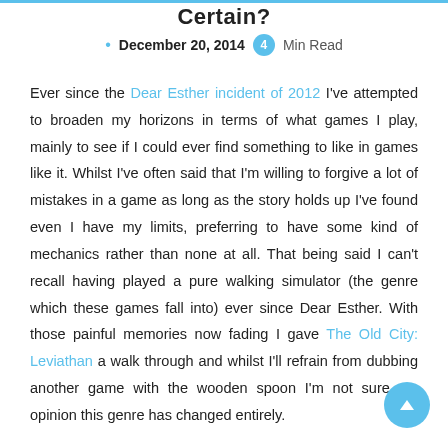Certain?
December 20, 2014  4  Min Read
Ever since the Dear Esther incident of 2012 I've attempted to broaden my horizons in terms of what games I play, mainly to see if I could ever find something to like in games like it. Whilst I've often said that I'm willing to forgive a lot of mistakes in a game as long as the story holds up I've found even I have my limits, preferring to have some kind of mechanics rather than none at all. That being said I can't recall having played a pure walking simulator (the genre which these games fall into) ever since Dear Esther. With those painful memories now fading I gave The Old City: Leviathan a walk through and whilst I'll refrain from dubbing another game with the wooden spoon I'm not sure my opinion this genre has changed entirely.